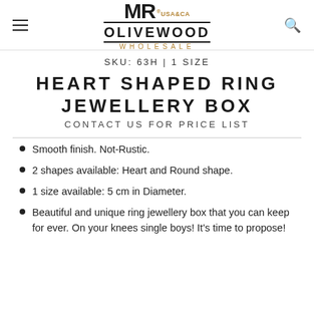MR® USA&CA OLIVEWOOD WHOLESALE
SKU: 63H | 1 SIZE
HEART SHAPED RING JEWELLERY BOX
CONTACT US FOR PRICE LIST
Smooth finish. Not-Rustic.
2 shapes available: Heart and Round shape.
1 size available: 5 cm in Diameter.
Beautiful and unique ring jewellery box that you can keep for ever. On your knees single boys! It's time to propose!